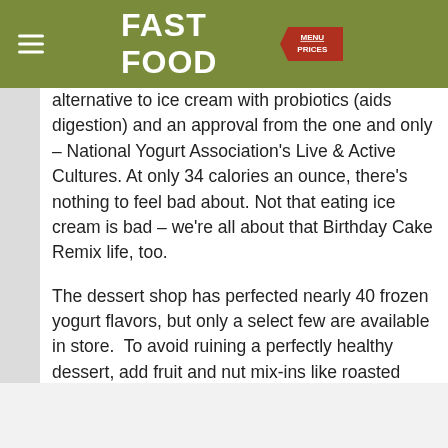FAST FOOD MENU PRICES
alternative to ice cream with probiotics (aids digestion) and an approval from the one and only – National Yogurt Association's Live & Active Cultures. At only 34 calories an ounce, there's nothing to feel bad about. Not that eating ice cream is bad – we're all about that Birthday Cake Remix life, too.
The dessert shop has perfected nearly 40 frozen yogurt flavors, but only a select few are available in store.  To avoid ruining a perfectly healthy dessert, add fruit and nut mix-ins like roasted almonds, bananas, blueberries, coconut, raspberries, strawberries, cinnamon, and pecans.